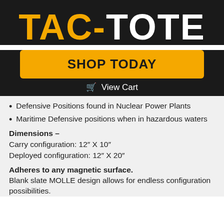TAC-TOTE
SHOP TODAY
🛒 View Cart
Defensive Positions found in Nuclear Power Plants
Maritime Defensive positions when in hazardous waters
Dimensions – Carry configuration: 12″ X 10″ Deployed configuration: 12″ X 20″
Adheres to any magnetic surface. Blank slate MOLLE design allows for endless configuration possibilities.